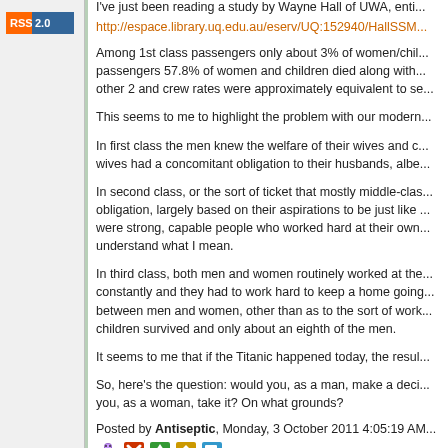[Figure (other): RSS 2.0 badge/button in sidebar]
I've just been reading a study by Wayne Hall of UWA, enti...
http://espace.library.uq.edu.au/eserv/UQ:152940/HallSSM...
Among 1st class passengers only about 3% of women/children died. Among 2nd class passengers 57.8% of women and children died along with... other 2 and crew rates were approximately equivalent to se...
This seems to me to highlight the problem with our modern...
In first class the men knew the welfare of their wives and c... wives had a concomitant obligation to their husbands, albe...
In second class, or the sort of ticket that mostly middle-cla... obligation, largely based on their aspirations to be just like ... were strong, capable people who worked hard at their own... understand what I mean.
In third class, both men and women routinely worked at the... constantly and they had to work hard to keep a home going... between men and women, other than as to the sort of work... children survived and only about an eighth of the men.
It seems to me that if the Titanic happened today, the resul...
So, here's the question: would you, as a man, make a deci... you, as a woman, take it? On what grounds?
Posted by Antiseptic, Monday, 3 October 2011 4:05:19 AM...